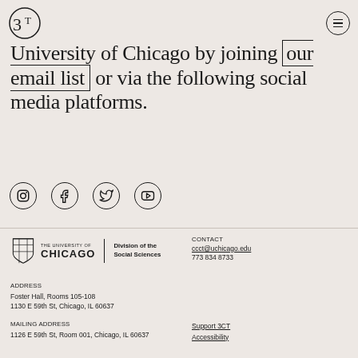[Figure (logo): 3CT logo — stylized '3' with circular element and 'CT' letters]
University of Chicago by joining our email list or via the following social media platforms.
[Figure (other): Social media icons: Instagram, Facebook, Twitter, YouTube — all circular outlined icons]
[Figure (logo): The University of Chicago | Division of the Social Sciences logo with shield]
CONTACT
ccct@uchicago.edu
773 834 8733
ADDRESS
Foster Hall, Rooms 105-108
1130 E 59th St, Chicago, IL 60637
MAILING ADDRESS
1126 E 59th St, Room 001, Chicago, IL 60637
Support 3CT
Accessibility